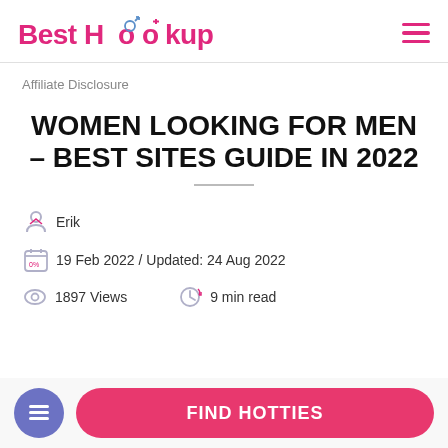Best Hookup
Affiliate Disclosure
WOMEN LOOKING FOR MEN – BEST SITES GUIDE IN 2022
Erik
19 Feb 2022 / Updated: 24 Aug 2022
1897 Views   9 min read
FIND HOTTIES